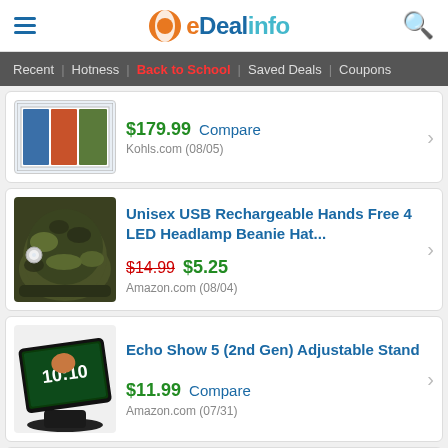eDealinfo
Recent | Hotness | Back to School | Saved Deals | Coupons
[Figure (photo): Product image - tablet/Kindle device with book covers]
$179.99  Compare
Kohls.com  (08/05)
[Figure (photo): Camo beanie hat with LED headlamp]
Unisex USB Rechargeable Hands Free 4 LED Headlamp Beanie Hat...
$14.99  $5.25
Amazon.com  (08/04)
[Figure (photo): Echo Show 5 2nd Gen with adjustable stand showing 10:10 time]
Echo Show 5 (2nd Gen) Adjustable Stand
$11.99  Compare
Amazon.com  (07/31)
Echo Show 5 Smart Display with Alexa (2nd Gen, Charcoal)